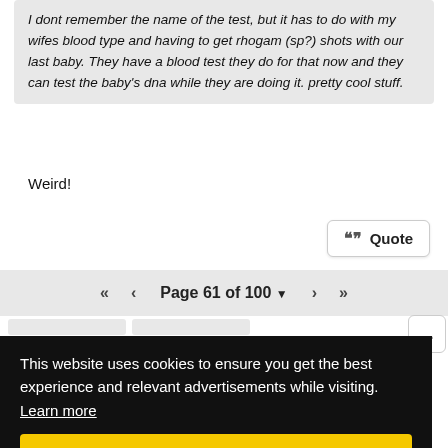I dont remember the name of the test, but it has to do with my wifes blood type and having to get rhogam (sp?) shots with our last baby. They have a blood test they do for that now and they can test the baby's dna while they are doing it. pretty cool stuff.
Weird!
Quote
Page 61 of 100
This website uses cookies to ensure you get the best experience and relevant advertisements while visiting. Learn more
Got it!